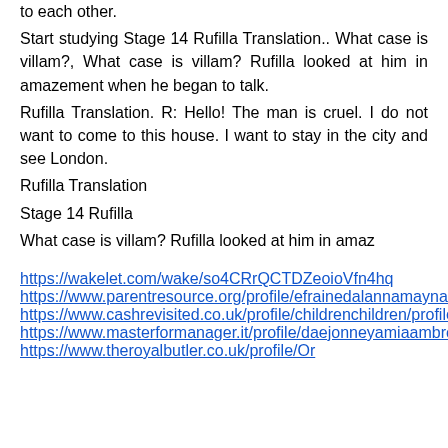to each other.
Start studying Stage 14 Rufilla Translation.. What case is villam?, What case is villam? Rufilla looked at him in amazement when he began to talk.
Rufilla Translation. R: Hello! The man is cruel. I do not want to come to this house. I want to stay in the city and see London.
Rufilla Translation
Stage 14 Rufilla
What case is villam? Rufilla looked at him in amaz
https://wakelet.com/wake/so4CRrQCTDZeoioVfn4hq
https://www.parentresource.org/profile/efrainedalannamaynard/profile
https://www.cashrevisited.co.uk/profile/childrenchildren/profile
https://www.masterformanager.it/profile/daejonneyamiaambrozio/profile
https://www.theroyalbutler.co.uk/profile/Or...